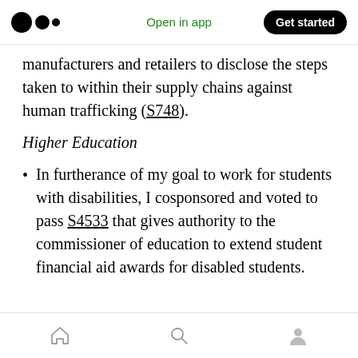Open in app | Get started
manufacturers and retailers to disclose the steps taken to within their supply chains against human trafficking (S748).
Higher Education
In furtherance of my goal to work for students with disabilities, I cosponsored and voted to pass S4533 that gives authority to the commissioner of education to extend student financial aid awards for disabled students.
Home | Search | Profile